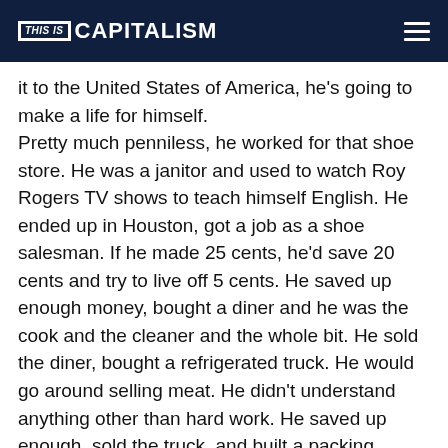THIS IS CAPITALISM
it to the United States of America, he's going to make a life for himself. Pretty much penniless, he worked for that shoe store. He was a janitor and used to watch Roy Rogers TV shows to teach himself English. He ended up in Houston, got a job as a shoe salesman. If he made 25 cents, he'd save 20 cents and try to live off 5 cents. He saved up enough money, bought a diner and he was the cook and the cleaner and the whole bit. He sold the diner, bought a refrigerated truck. He would go around selling meat. He didn't understand anything other than hard work. He saved up enough, sold the truck, and built a packing house.